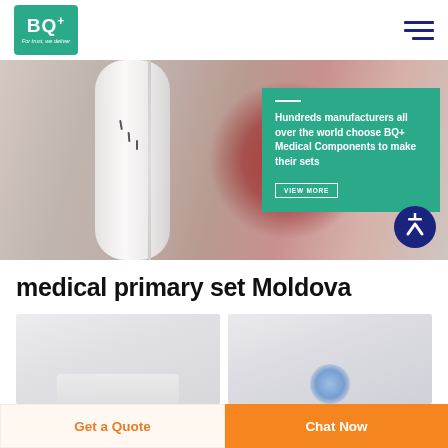[Figure (logo): BQ+ Medical logo — teal green square background with white BQ+ text and italic tagline 'For trust, we deliver']
[Figure (photo): Hero banner showing close-up of medical IV drip set / tube component in white on blurred reddish background, with a teal overlay info card on the right]
Hundreds manufacturers all over the world choose BQ+ Medical Components to make their sets
VIEW MORE
medical primary set Moldova
[Figure (photo): Product image 1 — light grey/white medical component]
[Figure (photo): Product image 2 — blue/transparent medical IV component]
Get a Quote
Chat Now